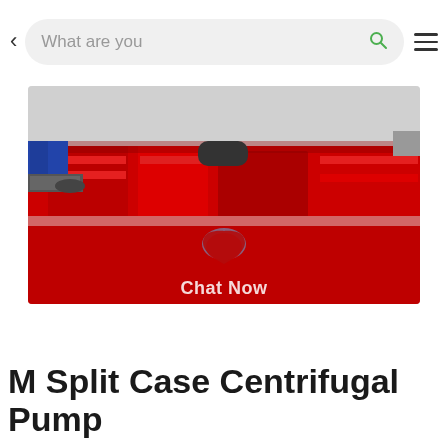< What are you [searching] Q ≡
[Figure (photo): Industrial red split case centrifugal pumps arranged on a white floor with a person's legs visible. A red banner/overlay covers the lower portion of the image with a 'Chat Now' button overlay.]
M Split Case Centrifugal Pump